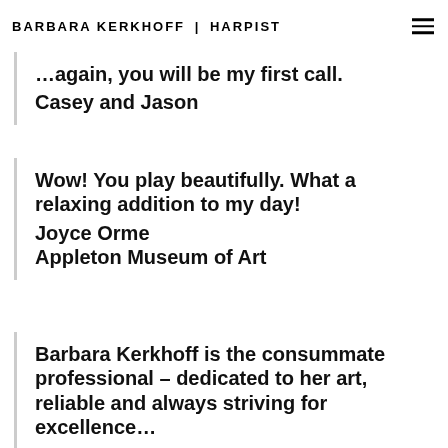BARBARA KERKHOFF | HARPIST
...again, you will be my first call.
Casey and Jason
Wow!  You play beautifully.  What a relaxing addition to my day!
Joyce Orme
Appleton Museum of Art
Barbara Kerkhoff is the consummate professional – dedicated to her art, reliable and always striving for excellence...